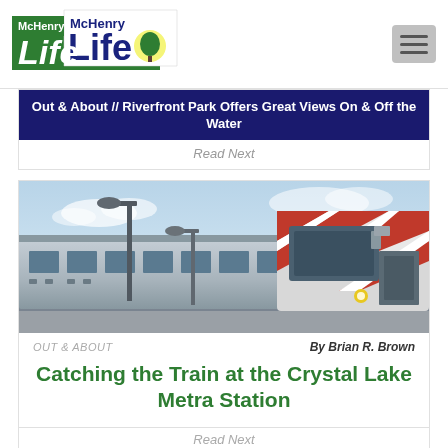[Figure (logo): McHenry Life logo with green banner and tree icon]
Out & About // Riverfront Park Offers Great Views On & Off the Water
Read Next
[Figure (photo): A Metra commuter train at a station, featuring red and white striped front car and silver passenger cars with blue sky background]
OUT & ABOUT
By Brian R. Brown
Catching the Train at the Crystal Lake Metra Station
Read Next